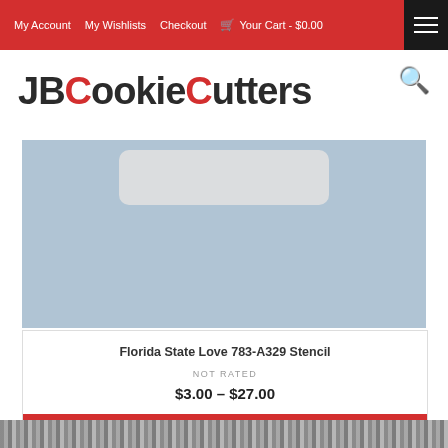My Account  My Wishlists  Checkout  Your Cart - $0.00
JBCookieCutters
[Figure (photo): Product image area showing a light blue background with a white rounded rectangle shape at the top center, representing a cookie cutter stencil product photo.]
Florida State Love 783-A329 Stencil
NOT RATED
$3.00 - $27.00
SELECT OPTIONS
[Figure (photo): Bottom strip showing a partial image of metal cookie cutters or similar metal items.]